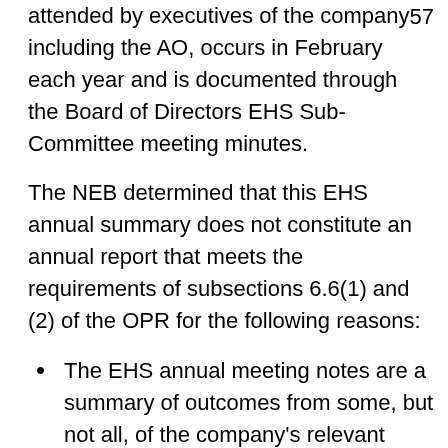57
attended by executives of the company including the AO, occurs in February each year and is documented through the Board of Directors EHS Sub-Committee meeting minutes.
The NEB determined that this EHS annual summary does not constitute an annual report that meets the requirements of subsections 6.6(1) and (2) of the OPR for the following reasons:
The EHS annual meeting notes are a summary of outcomes from some, but not all, of the company's relevant